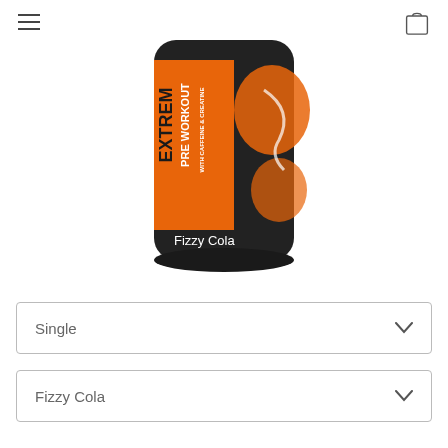[Figure (photo): Product photo of an energy drink can labeled 'EXTREME PRE WORKOUT with caffeine & creatine, Fizzy Cola flavour'. The can is black with orange design elements including spiky/flame graphics and a dragon logo. Text on can reads 'Fizzy Cola' and 'High caffeine content Not recommended to...']
Single
Fizzy Cola